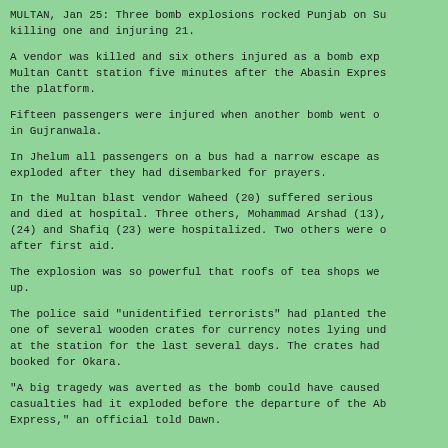MULTAN, Jan 25: Three bomb explosions rocked Punjab on Su killing one and injuring 21.
A vendor was killed and six others injured as a bomb exp Multan Cantt station five minutes after the Abasin Expres the platform.
Fifteen passengers were injured when another bomb went o in Gujranwala.
In Jhelum all passengers on a bus had a narrow escape as exploded after they had disembarked for prayers.
In the Multan blast vendor Waheed (20) suffered serious and died at hospital. Three others, Mohammad Arshad (13), (24) and Shafiq (23) were hospitalized. Two others were after first aid.
The explosion was so powerful that roofs of tea shops we up.
The police said "unidentified terrorists" had planted th one of several wooden crates for currency notes lying un at the station for the last several days. The crates had booked for Okara.
"A big tragedy was averted as the bomb could have caused casualties had it exploded before the departure of the Ab Express," an official told Dawn.